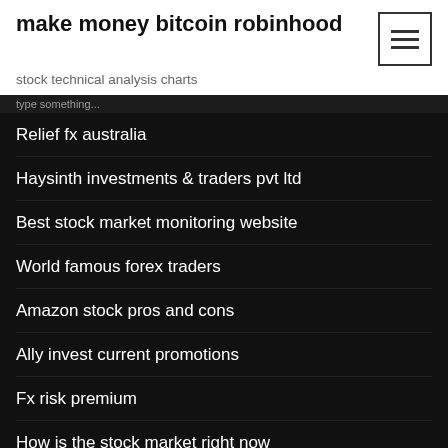make money bitcoin robinhood
stock technical analysis charts
Relief fx australia
Haysinth investments & traders pvt ltd
Best stock market monitoring website
World famous forex traders
Amazon stock pros and cons
Ally invest current promotions
Fx risk premium
How is the stock market right now
Oxm stocktwits
Moving average strategy forex